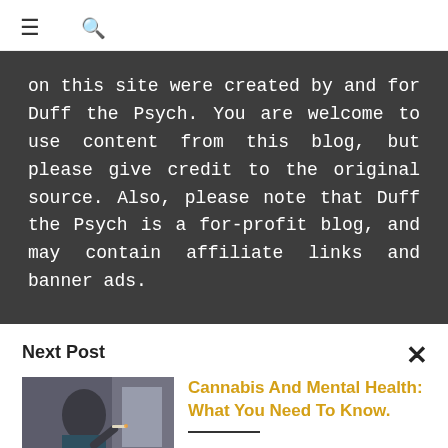≡  🔍
on this site were created by and for Duff the Psych. You are welcome to use content from this blog, but please give credit to the original source. Also, please note that Duff the Psych is a for-profit blog, and may contain affiliate links and banner ads.
Next Post
[Figure (photo): A person holding a cigarette/joint near their face, dimly lit interior background]
Cannabis And Mental Health: What You Need To Know.
In episode 293, I received an interesting question from a listener looking for advice on cannabis use disorder. In this...